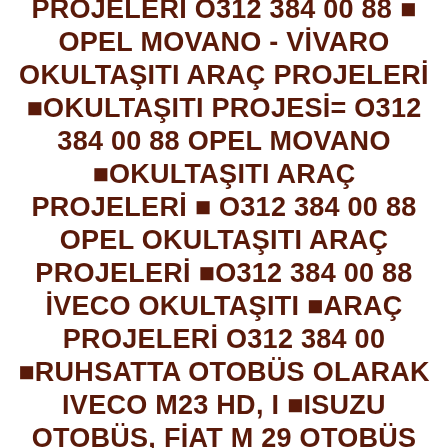■OKULTAŞITI ARAÇ PROJELERİ O312 384 00 88 ■ OPEL MOVANO - VİVARO OKULTAŞITI ARAÇ PROJELERİ ■OKULTAŞITI PROJESİ= O312 384 00 88 OPEL MOVANO ■OKULTAŞITI ARAÇ PROJELERİ ■ O312 384 00 88 OPEL OKULTAŞITI ARAÇ PROJELERİ ■O312 384 00 88 İVECO OKULTAŞITI ■ARAÇ PROJELERİ O312 384 00 ■RUHSATTA OTOBÜS OLARAK IVECO M23 HD, I ■ıSUZU OTOBÜS, FİAT M 29 OTOBÜS V.B.)